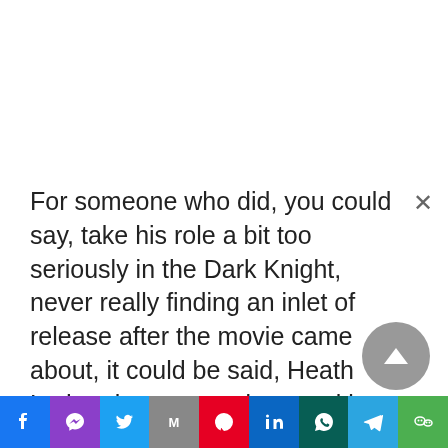For someone who did, you could say, take his role a bit too seriously in the Dark Knight, never really finding an inlet of release after the movie came about, it could be said, Heath Ledger became an immortal by virtue of the film. Rather more specifically, due to a powerhouse performance so incredible and alluring that even fans, as on date, haven't really been able to fully come out of The Dark Knight.

In some ways, this wild and one of a kind tryst